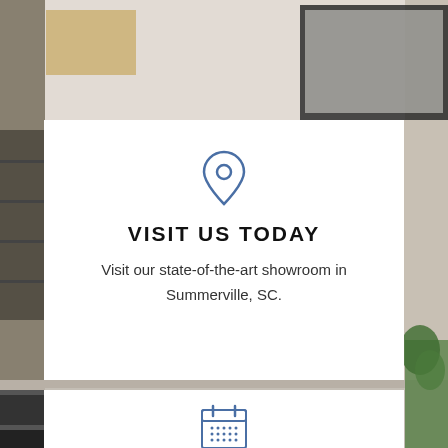[Figure (photo): Background photo of a home interior showroom with shelves, appliances, and plants visible]
[Figure (illustration): Blue outline location pin / map marker icon]
VISIT US TODAY
Visit our state-of-the-art showroom in Summerville, SC.
[Figure (illustration): Blue outline calendar icon with grid of dots representing days]
FREE ESTIMATE